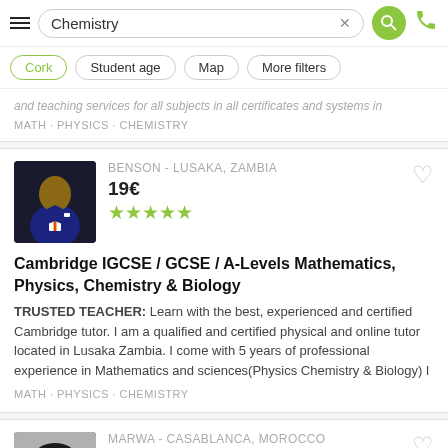[Figure (screenshot): Top navigation bar with hamburger menu, Chemistry search field, X clear button, green search button, and green phone icon]
[Figure (screenshot): Filter pills row: Cork (active/green), Student age, Map, More filters]
and teaching services for all subjects in all certificates and systems in
MATH · PHYSICS · CHEMISTRY
BENSON - LUSAKA, ZAMBIA
19€
[Figure (illustration): 5 green stars rating]
Cambridge IGCSE / GCSE / A-Levels Mathematics, Physics, Chemistry & Biology
TRUSTED TEACHER: Learn with the best, experienced and certified Cambridge tutor. I am a qualified and certified physical and online tutor located in Lusaka Zambia. I come with 5 years of professional experience in Mathematics and sciences(Physics Chemistry & Biology) I
MATH · PHYSICS · CHEMISTRY
MARWA - CASABLANCA, MOROCCO
47€
[Figure (illustration): 5 green stars rating]